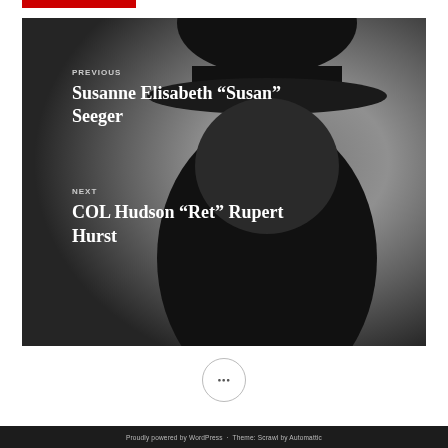[Figure (illustration): Gray navigation block with silhouette of a person wearing a hat, containing Previous and Next post navigation links overlaid as white text]
PREVIOUS
Susanne Elisabeth “Susan” Seeger
NEXT
COL Hudson “Ret” Rupert Hurst
•••
Proudly powered by WordPress · Theme: Scrawl by Automattic